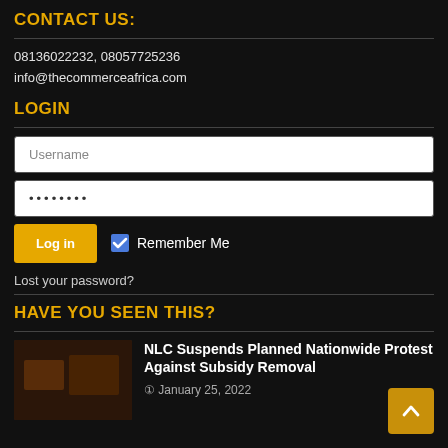CONTACT US:
08136022232, 08057725236
info@thecommerceafrica.com
LOGIN
[Figure (screenshot): Login form with Username and password fields, Log in button, Remember Me checkbox, and Lost your password link]
HAVE YOU SEEN THIS?
NLC Suspends Planned Nationwide Protest Against Subsidy Removal
January 25, 2022